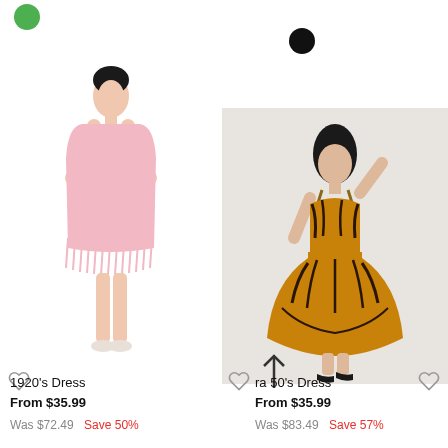[Figure (photo): Green color swatch circle, top left]
[Figure (photo): Black color swatch circle, top right area]
[Figure (photo): Model wearing a pink 1920s fringe flapper dress, white background, left product]
[Figure (photo): Model wearing a tiger print 50s style dress with strappy wedge heels, light grey background, right product]
1920's Dress
From $35.99
Was $72.49  Save 50%
ra 50's Dress
From $35.99
Was $83.49  Save 57%